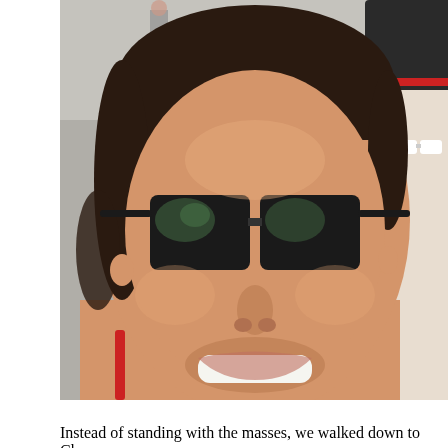[Figure (photo): A selfie photo of a smiling woman with dark hair pulled back, wearing black Ray-Ban sunglasses and a red spaghetti-strap top, taken outdoors on a city street with a yellow center line visible. A second person is partially visible on the right side wearing white sunglasses and a white shirt/red cap. In the background, pedestrians and a street scene are visible under bright sunlight.]
Instead of standing with the masses, we walked down to Chase